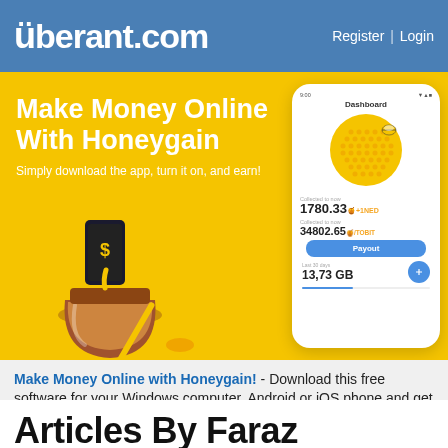überant.com  Register | Login
[Figure (infographic): Yellow promotional banner for Honeygain app with phone mockup showing dashboard with 1780.33 credits, 34802.65 gathered total, Payout button, and 13,73 GB data. Left side shows honey jar and dipper illustration.]
Make Money Online With Honeygain - Simply download the app, turn it on, and earn!
Make Money Online with Honeygain! - Download this free software for your Windows computer, Android or iOS phone and get paid to share your internet connection! Download, turn it on and earn!
Articles By Faraz